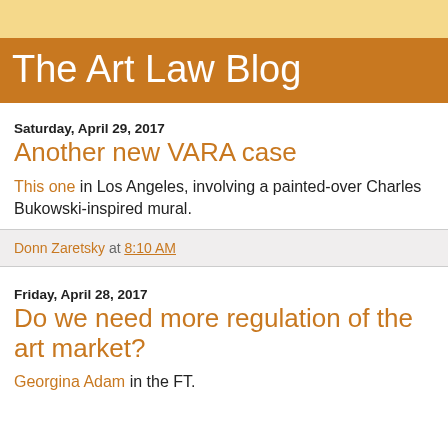The Art Law Blog
Saturday, April 29, 2017
Another new VARA case
This one in Los Angeles, involving a painted-over Charles Bukowski-inspired mural.
Donn Zaretsky at 8:10 AM
Friday, April 28, 2017
Do we need more regulation of the art market?
Georgina Adam in the FT.